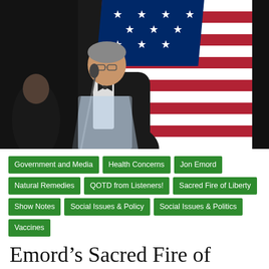[Figure (photo): Man in tuxedo with white bow tie speaking at a clear podium with a microphone, with an American flag in the background]
Government and Media
Health Concerns
Jon Emord
Natural Remedies
QOTD from Listeners!
Sacred Fire of Liberty
Show Notes
Social Issues & Policy
Social Issues & Politics
Vaccines
Emord’s Sacred Fire of Liberty, Orwellian